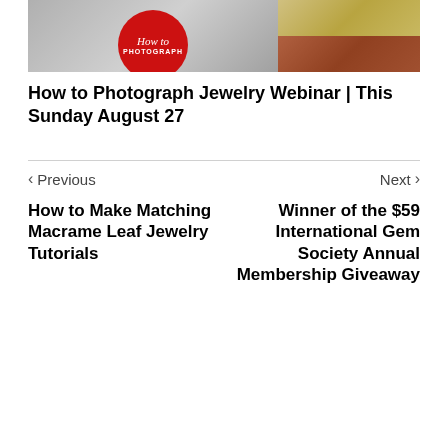[Figure (photo): Jewelry photography composite image: left side shows silver jewelry on grey background with red circle overlay reading 'How to PHOTOGRAPH', right side shows gold and blue tassel jewelry pieces on dark background]
How to Photograph Jewelry Webinar | This Sunday August 27
< Previous
Next >
How to Make Matching Macrame Leaf Jewelry Tutorials
Winner of the $59 International Gem Society Annual Membership Giveaway